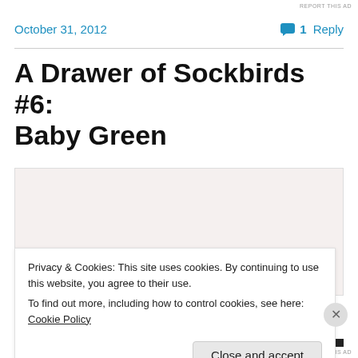REPORT THIS AD
October 31, 2012
1 Reply
A Drawer of Sockbirds #6: Baby Green
[Figure (illustration): Sketch illustration of a bird, partially visible, drawn in pencil on light pinkish-beige paper. Only the wing/tail lines are visible in the lower-left area of the image.]
Privacy & Cookies: This site uses cookies. By continuing to use this website, you agree to their use.
To find out more, including how to control cookies, see here: Cookie Policy
Close and accept
REPORT THIS AD